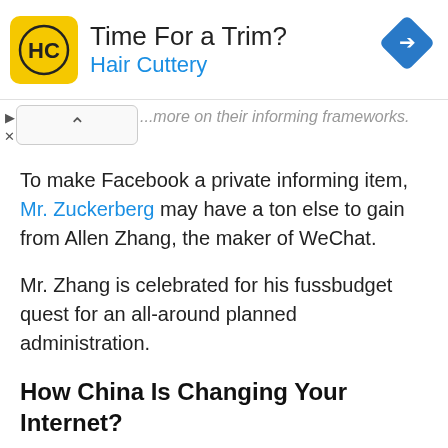[Figure (other): Hair Cuttery advertisement banner with yellow logo showing 'HC' text, title 'Time For a Trim?', subtitle 'Hair Cuttery' in blue, and a blue diamond navigation arrow icon on the right]
...more on their informing frameworks.
To make Facebook a private informing item, Mr. Zuckerberg may have a ton else to gain from Allen Zhang, the maker of WeChat.
Mr. Zhang is celebrated for his fussbudget quest for an all-around planned administration.
How China Is Changing Your Internet?
Mr. Zhang battled numerous inward fights when Tencent's income division pushed to put more promotions on WeChat.